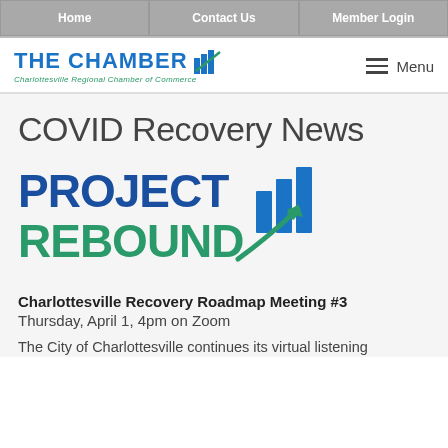Home | Contact Us | Member Login
[Figure (logo): The Chamber - Charlottesville Regional Chamber of Commerce logo with blue bar chart icon and Menu hamburger button]
COVID Recovery News
[Figure (logo): Project Rebound logo with blue bar chart and green upward arrow]
Charlottesville Recovery Roadmap Meeting #3
Thursday, April 1, 4pm on Zoom
The City of Charlottesville continues its virtual listening